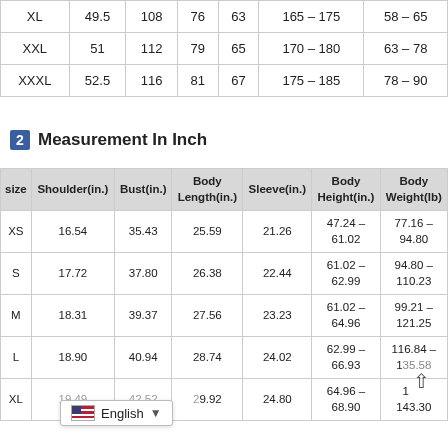| size | Shoulder(cm) | Bust(cm) | Body Length(cm) | Sleeve(cm) | Body Height(cm) | Body Weight(kg) |
| --- | --- | --- | --- | --- | --- | --- |
| XL | 49.5 | 108 | 76 | 63 | 165 – 175 | 58 – 65 |
| XXL | 51 | 112 | 79 | 65 | 170 – 180 | 63 – 78 |
| XXXL | 52.5 | 116 | 81 | 67 | 175 – 185 | 78 – 90 |
2  Measurement In Inch
| size | Shoulder(in.) | Bust(in.) | Body Length(in.) | Sleeve(in.) | Body Height(in.) | Body Weight(lb) |
| --- | --- | --- | --- | --- | --- | --- |
| XS | 16.54 | 35.43 | 25.59 | 21.26 | 47.24 – 61.02 | 77.16 – 94.80 |
| S | 17.72 | 37.80 | 26.38 | 22.44 | 61.02 – 62.99 | 94.80 – 110.23 |
| M | 18.31 | 39.37 | 27.56 | 23.23 | 61.02 – 64.96 | 99.21 – 121.25 |
| L | 18.90 | 40.94 | 28.74 | 24.02 | 62.99 – 66.93 | 116.84 – 135.58 |
| XL | 19.49 | 42.52 | 29.92 | 24.80 | 64.96 – 68.90 | 143.30 |